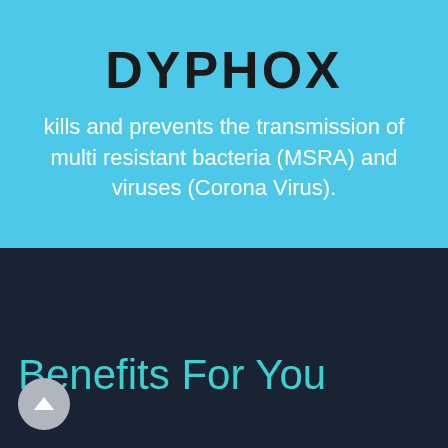DYPHOX
kills and prevents the transmission of multi resistant bacteria (MSRA) and viruses (Corona Virus).
Benefits For You